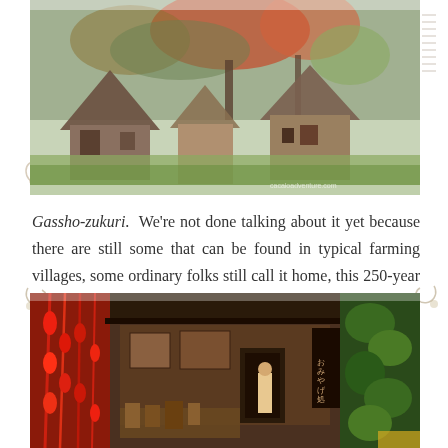[Figure (photo): Traditional Japanese Gassho-zukuri farmhouse with steep thatched roof surrounded by trees with autumn foliage. Watermark text 'cacaloadventure.com' visible in lower right corner.]
Gassho-zukuri.  We're not done talking about it yet because there are still some that can be found in typical farming villages, some ordinary folks still call it home, this 250-year old special farmhouses.
[Figure (photo): Japanese market or shop storefront with dark wood exterior. Hanging red peppers/chilies on left side, green leafy vegetables on right side, and a person standing in the center doorway area with various goods displayed outside. Japanese text (おみやげ処) visible on right side of building.]